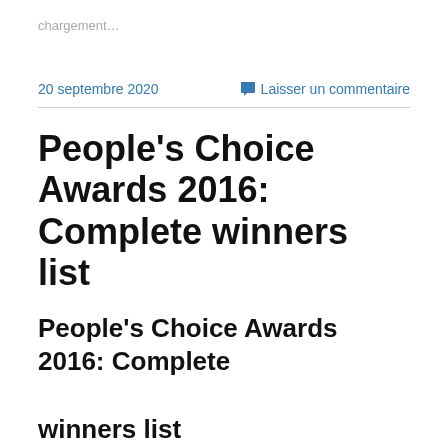chargement…
20 septembre 2020
Laisser un commentaire
People's Choice Awards 2016: Complete winners list
People's Choice Awards 2016: Complete winners list
[Figure (other): Broken image placeholder for '2016 People's Choice Awards Winners Announced.']